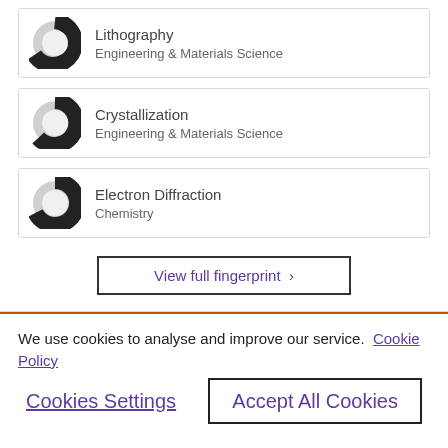[Figure (donut-chart): Donut chart icon representing Lithography fingerprint coverage, approximately 60% filled]
Lithography
Engineering & Materials Science
[Figure (donut-chart): Donut chart icon representing Crystallization fingerprint coverage, approximately 50% filled]
Crystallization
Engineering & Materials Science
[Figure (donut-chart): Donut chart icon representing Electron Diffraction fingerprint coverage, approximately 55% filled]
Electron Diffraction
Chemistry
View full fingerprint ›
We use cookies to analyse and improve our service. Cookie Policy
Cookies Settings
Accept All Cookies